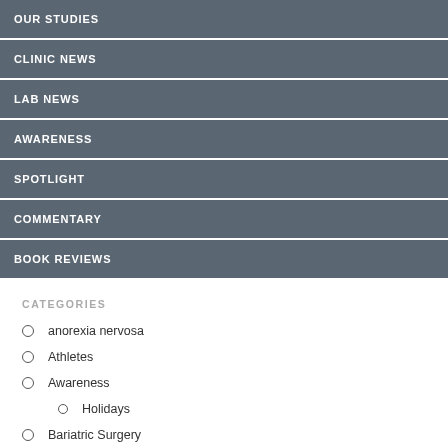OUR STUDIES
CLINIC NEWS
LAB NEWS
AWARENESS
SPOTLIGHT
COMMENTARY
BOOK REVIEWS
CATEGORIES
anorexia nervosa
Athletes
Awareness
Holidays
Bariatric Surgery
BED